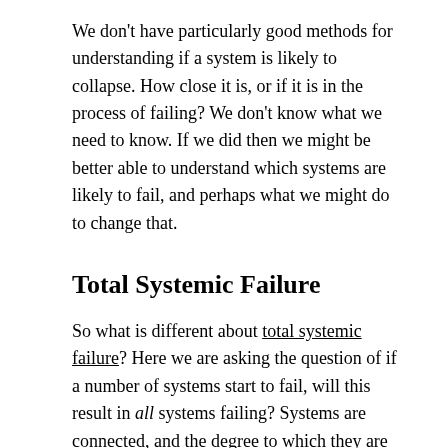We don't have particularly good methods for understanding if a system is likely to collapse. How close it is, or if it is in the process of failing? We don't know what we need to know. If we did then we might be better able to understand which systems are likely to fail, and perhaps what we might do to change that.
Total Systemic Failure
So what is different about total systemic failure? Here we are asking the question of if a number of systems start to fail, will this result in all systems failing? Systems are connected, and the degree to which they are connected and the significance of these connections is difficult to understand. Therefore, could the failure of one system